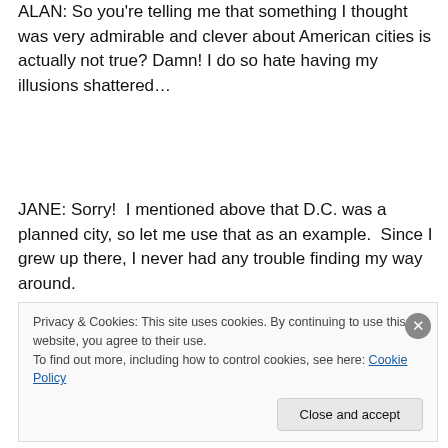ALAN: So you're telling me that something I thought was very admirable and clever about American cities is actually not true? Damn! I do so hate having my illusions shattered…
JANE: Sorry!  I mentioned above that D.C. was a planned city, so let me use that as an example.  Since I grew up there, I never had any trouble finding my way around.
Privacy & Cookies: This site uses cookies. By continuing to use this website, you agree to their use.
To find out more, including how to control cookies, see here: Cookie Policy